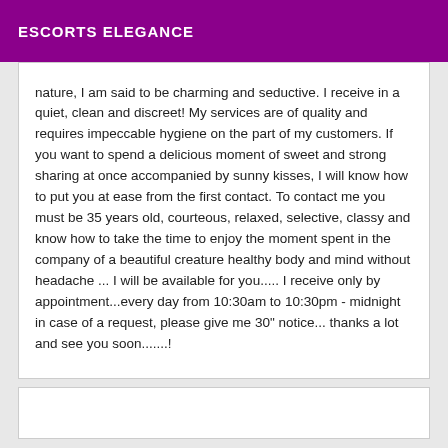ESCORTS ELEGANCE
nature, I am said to be charming and seductive. I receive in a quiet, clean and discreet! My services are of quality and requires impeccable hygiene on the part of my customers. If you want to spend a delicious moment of sweet and strong sharing at once accompanied by sunny kisses, I will know how to put you at ease from the first contact. To contact me you must be 35 years old, courteous, relaxed, selective, classy and know how to take the time to enjoy the moment spent in the company of a beautiful creature healthy body and mind without headache ... I will be available for you..... I receive only by appointment...every day from 10:30am to 10:30pm - midnight in case of a request, please give me 30" notice... thanks a lot and see you soon.......!